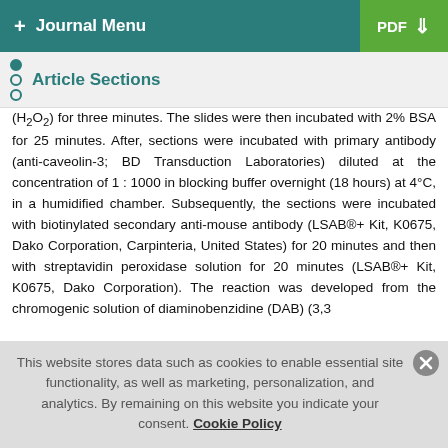+ Journal Menu   PDF ↓
Article Sections
(H₂O₂) for three minutes. The slides were then incubated with 2% BSA for 25 minutes. After, sections were incubated with primary antibody (anti-caveolin-3; BD Transduction Laboratories) diluted at the concentration of 1 : 1000 in blocking buffer overnight (18 hours) at 4°C, in a humidified chamber. Subsequently, the sections were incubated with biotinylated secondary anti-mouse antibody (LSAB®+ Kit, K0675, Dako Corporation, Carpinteria, United States) for 20 minutes and then with streptavidin peroxidase solution for 20 minutes (LSAB®+ Kit, K0675, Dako Corporation). The reaction was developed from the chromogenic solution of diaminobenzidine (DAB) (3,3
This website stores data such as cookies to enable essential site functionality, as well as marketing, personalization, and analytics. By remaining on this website you indicate your consent. Cookie Policy